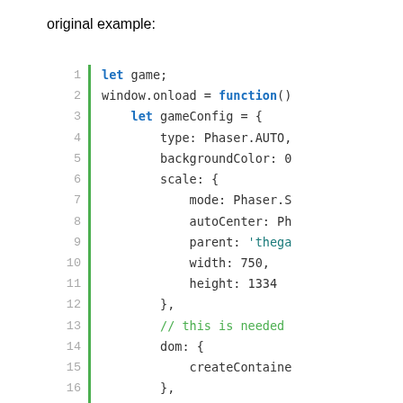original example:
[Figure (screenshot): Code editor screenshot showing JavaScript code with line numbers 1-20 and a green gutter bar. Code shows: let game; on line 1, window.onload = function() on line 3, let gameConfig = { on line 4, type: Phaser.AUTO on line 5, backgroundColor: 0 on line 6, scale: { on line 7, mode: Phaser.S on line 8, autoCenter: Ph on line 9, parent: 'thega on line 10, width: 750 on line 11, height: 1334 on line 12, }, on line 13, // this is needed on line 15, dom: { on line 16, createContaine on line 17, }, on line 18, scene: playGame on line 19, } on line 20. Keywords 'let' and 'function' are in bold blue, string 'thega is in teal, comment is in green.]